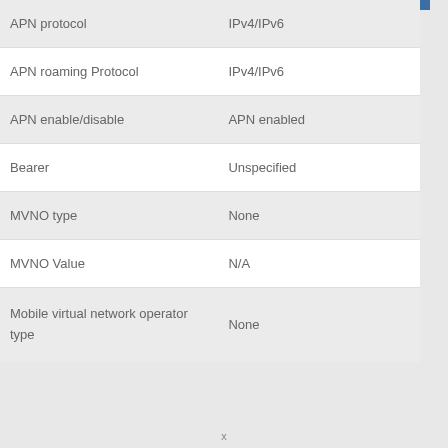| Setting | Value |
| --- | --- |
| APN protocol | IPv4/IPv6 |
| APN roaming Protocol | IPv4/IPv6 |
| APN enable/disable | APN enabled |
| Bearer | Unspecified |
| MVNO type | None |
| MVNO Value | N/A |
| Mobile virtual network operator type | None |
x